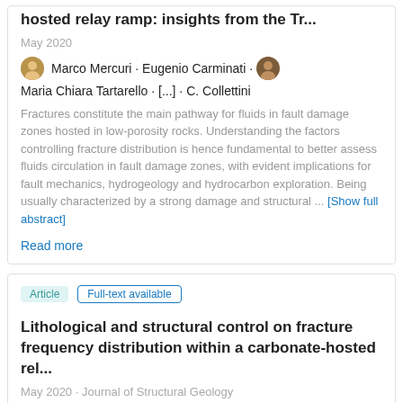hosted relay ramp: insights from the Tr...
May 2020
Marco Mercuri · Eugenio Carminati · Maria Chiara Tartarello · [...] · C. Collettini
Fractures constitute the main pathway for fluids in fault damage zones hosted in low-porosity rocks. Understanding the factors controlling fracture distribution is hence fundamental to better assess fluids circulation in fault damage zones, with evident implications for fault mechanics, hydrogeology and hydrocarbon exploration. Being usually characterized by a strong damage and structural ... [Show full abstract]
Read more
Article
Full-text available
Lithological and structural control on fracture frequency distribution within a carbonate-hosted rel...
May 2020 · Journal of Structural Geology
Marco Mercuri · Eugenio Carminati · Maria Chiara Tartarello · [...] · C. Collettini